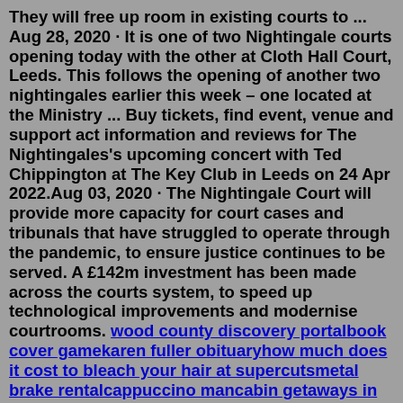They will free up room in existing courts to ... Aug 28, 2020 · It is one of two Nightingale courts opening today with the other at Cloth Hall Court, Leeds. This follows the opening of another two nightingales earlier this week – one located at the Ministry ... Buy tickets, find event, venue and support act information and reviews for The Nightingales's upcoming concert with Ted Chippington at The Key Club in Leeds on 24 Apr 2022.Aug 03, 2020 · The Nightingale Court will provide more capacity for court cases and tribunals that have struggled to operate through the pandemic, to ensure justice continues to be served. A £142m investment has been made across the courts system, to speed up technological improvements and modernise courtrooms. wood county discovery portalbook cover gamekaren fuller obituaryhow much does it cost to bleach your hair at supercutsmetal brake rentalcappuccino mancabin getaways in texas with hot tubshouses for sale hagley tasmanialaw school puns redditassets file extractoroversized mat frame